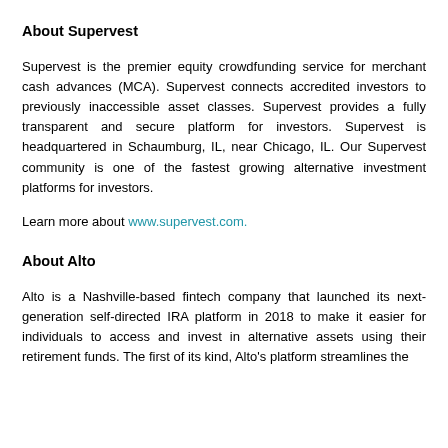About Supervest
Supervest is the premier equity crowdfunding service for merchant cash advances (MCA). Supervest connects accredited investors to previously inaccessible asset classes. Supervest provides a fully transparent and secure platform for investors. Supervest is headquartered in Schaumburg, IL, near Chicago, IL. Our Supervest community is one of the fastest growing alternative investment platforms for investors.
Learn more about www.supervest.com.
About Alto
Alto is a Nashville-based fintech company that launched its next-generation self-directed IRA platform in 2018 to make it easier for individuals to access and invest in alternative assets using their retirement funds. The first of its kind, Alto's platform streamlines the